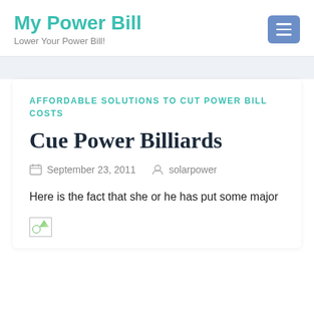My Power Bill
Lower Your Power Bill!
AFFORDABLE SOLUTIONS TO CUT POWER BILL COSTS
Cue Power Billiards
September 23, 2011   solarpower
Here is the fact that she or he has put some major